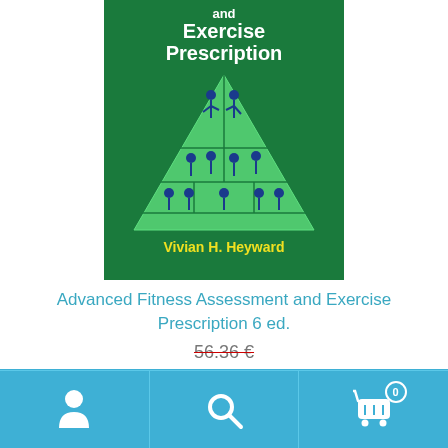[Figure (illustration): Book cover for 'Advanced Fitness Assessment and Exercise Prescription' by Vivian H. Heyward, 6th edition. Green background with white bold title text and a triangular exercise pyramid with blue silhouette figures. Author name in yellow at bottom.]
Advanced Fitness Assessment and Exercise Prescription 6 ed.
56.36 €
ℹ Toimitus kaikkiiin varastossa oleviin tuotteisiin 1-3pv
Piilota tämä ilmoitus
[Figure (infographic): Bottom navigation bar with person icon, search icon, and shopping cart icon with badge showing 0]